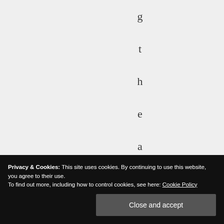g t h e a n t h e m .
Privacy & Cookies: This site uses cookies. By continuing to use this website, you agree to their use. To find out more, including how to control cookies, see here: Cookie Policy
Close and accept